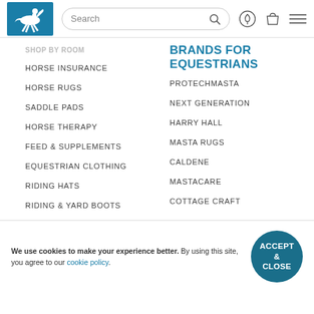[Figure (logo): Equestrian retailer logo: white horse and rider jumping on teal/blue background]
HORSE INSURANCE
HORSE RUGS
SADDLE PADS
HORSE THERAPY
FEED & SUPPLEMENTS
EQUESTRIAN CLOTHING
RIDING HATS
RIDING & YARD BOOTS
BRANDS FOR EQUESTRIANS
PROTECHMASTA
NEXT GENERATION
HARRY HALL
MASTA RUGS
CALDENE
MASTACARE
COTTAGE CRAFT
We use cookies to make your experience better. By using this site, you agree to our cookie policy.